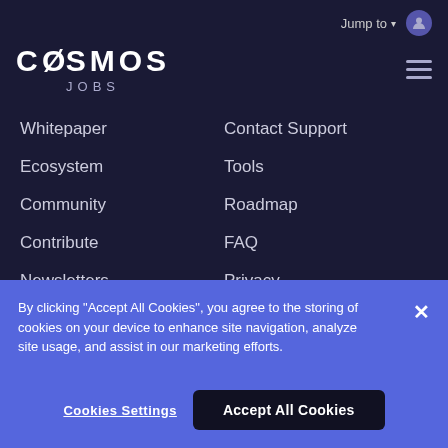Jump to
COSMOS JOBS
Whitepaper
Contact Support
Ecosystem
Tools
Community
Roadmap
Contribute
FAQ
Newsletters
Privacy
By clicking “Accept All Cookies”, you agree to the storing of cookies on your device to enhance site navigation, analyze site usage, and assist in our marketing efforts.
Cookies Settings
Accept All Cookies